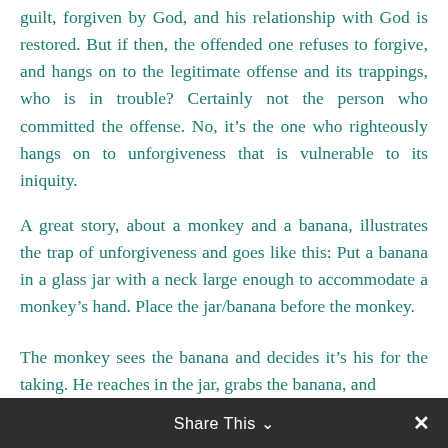guilt, forgiven by God, and his relationship with God is restored. But if then, the offended one refuses to forgive, and hangs on to the legitimate offense and its trappings, who is in trouble? Certainly not the person who committed the offense. No, it's the one who righteously hangs on to unforgiveness that is vulnerable to its iniquity.
A great story, about a monkey and a banana, illustrates the trap of unforgiveness and goes like this: Put a banana in a glass jar with a neck large enough to accommodate a monkey's hand. Place the jar/banana before the monkey.
The monkey sees the banana and decides it's his for the taking. He reaches in the jar, grabs the banana, and
Share This ∨  ✕